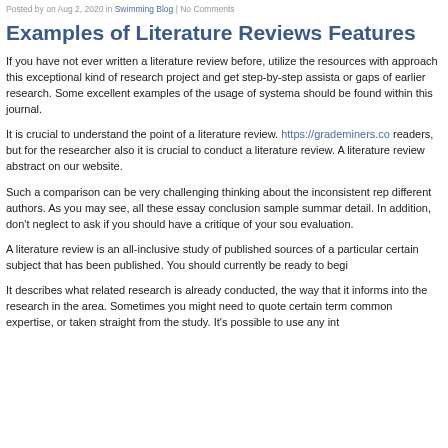Posted by on Aug 2, 2020 in Swimming Blog | No Comments
Examples of Literature Reviews Features
If you have not ever written a literature review before, utilize the resources with approach this exceptional kind of research project and get step-by-step assista or gaps of earlier research. Some excellent examples of the usage of systema should be found within this journal.
It is crucial to understand the point of a literature review. https://grademiners.co readers, but for the researcher also it is crucial to conduct a literature review. A literature review abstract on our website.
Such a comparison can be very challenging thinking about the inconsistent rep different authors. As you may see, all these essay conclusion sample summar detail. In addition, don't neglect to ask if you should have a critique of your sou evaluation.
A literature review is an all-inclusive study of published sources of a particular certain subject that has been published. You should currently be ready to begi
It describes what related research is already conducted, the way that it informs into the research in the area. Sometimes you might need to quote certain term common expertise, or taken straight from the study. It's possible to use any int